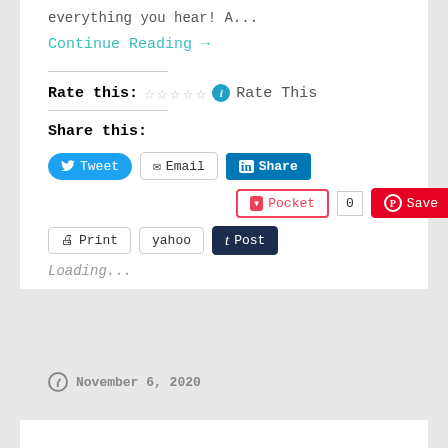everything you hear! A...
Continue Reading →
Rate this: ☆☆☆☆☆ ℹ Rate This
Share this:
Tweet | Email | Share
Pocket 0 | Save
Print | yahoo | Post
Loading...
November 6, 2020